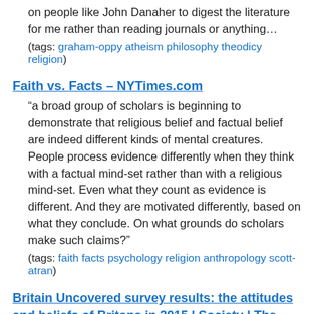on people like John Danaher to digest the literature for me rather than reading journals or anything…
(tags: graham-oppy atheism philosophy theodicy religion)
Faith vs. Facts – NYTimes.com
“a broad group of scholars is beginning to demonstrate that religious belief and factual belief are indeed different kinds of mental creatures. People process evidence differently when they think with a factual mind-set rather than with a religious mind-set. Even what they count as evidence is different. And they are motivated differently, based on what they conclude. On what grounds do scholars make such claims?”
(tags: faith facts psychology religion anthropology scott-atran)
Britain Uncovered survey results: the attitudes and beliefs of Britons in 2015 | Society | The Guardian